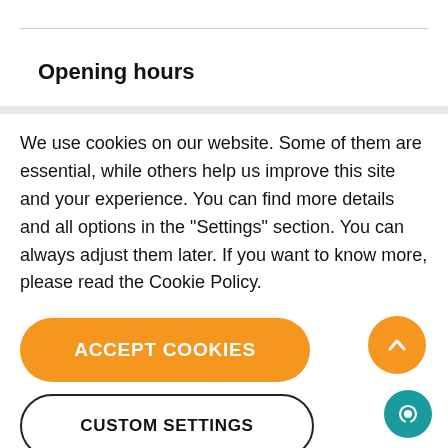Opening hours
We use cookies on our website. Some of them are essential, while others help us improve this site and your experience. You can find more details and all options in the "Settings" section. You can always adjust them later. If you want to know more, please read the Cookie Policy.
[Figure (other): Orange rounded button labeled ACCEPT COOKIES]
[Figure (other): White rounded button with black border labeled CUSTOM SETTINGS]
[Figure (other): Orange circular scroll-to-top button with upward chevron arrow]
[Figure (other): Teal circular chat/messenger button]